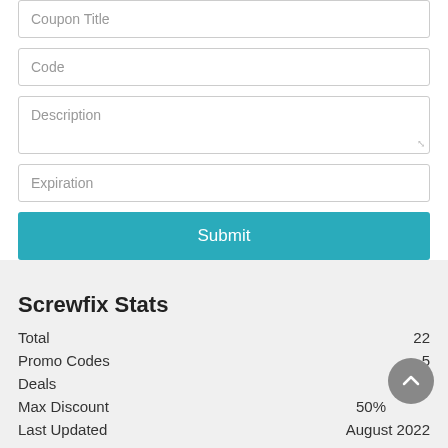Coupon Title
Code
Description
Expiration
Submit
Screwfix Stats
|  |  |
| --- | --- |
| Total | 22 |
| Promo Codes | 5 |
| Deals | 17 |
| Max Discount | 50% |
| Last Updated | August 2022 |
Screwfix Top Coupon Codes and Offers